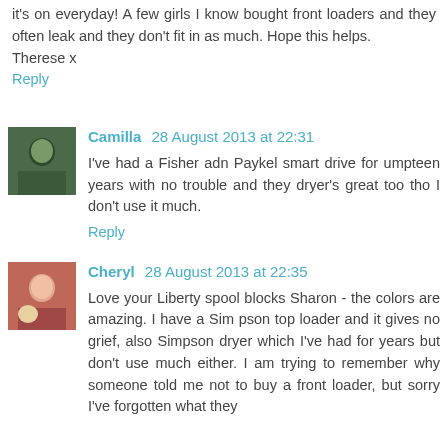it's on everyday! A few girls I know bought front loaders and they often leak and they don't fit in as much. Hope this helps.
Therese x
Reply
Camilla 28 August 2013 at 22:31
I've had a Fisher adn Paykel smart drive for umpteen years with no trouble and they dryer's great too tho I don't use it much.
Reply
Cheryl 28 August 2013 at 22:35
Love your Liberty spool blocks Sharon - the colors are amazing. I have a Sim pson top loader and it gives no grief, also Simpson dryer which I've had for years but don't use much either. I am trying to remember why someone told me not to buy a front loader, but sorry I've forgotten what they